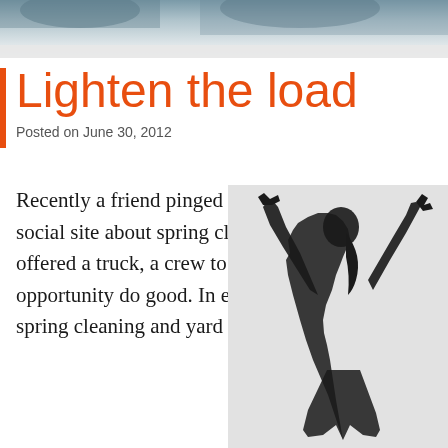[Figure (photo): Blurred outdoor photo header strip at top of page]
Lighten the load
Posted on June 30, 2012
Recently a friend pinged a bunch of us on a social site about spring cleaning. She offered a truck, a crew to help lift, and an opportunity do good. In exchange for doing spring cleaning and yard work,
[Figure (photo): Black and white silhouette of a child with arms raised above head against a light grey background]